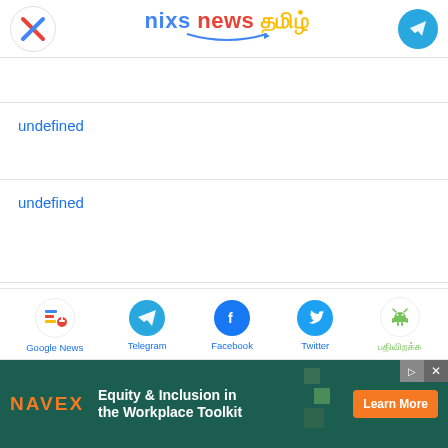nixs news தமிழ்
undefined
undefined
[Figure (infographic): Social share bar with icons for Google News, Telegram, Facebook, Twitter, and Android app]
[Figure (infographic): NAVEX advertisement banner: Equity & Inclusion in the Workplace Toolkit - Learn More]